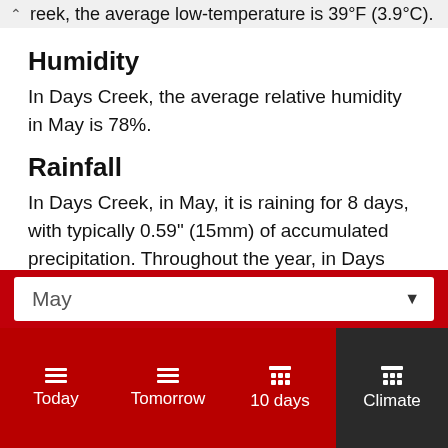reek, the average low-temperature is 39°F (3.9°C).
Humidity
In Days Creek, the average relative humidity in May is 78%.
Rainfall
In Days Creek, in May, it is raining for 8 days, with typically 0.59" (15mm) of accumulated precipitation. Throughout the year, in Days Creek, there are 93.9 rainfall days, and 7.64" (194mm) of precipitation is